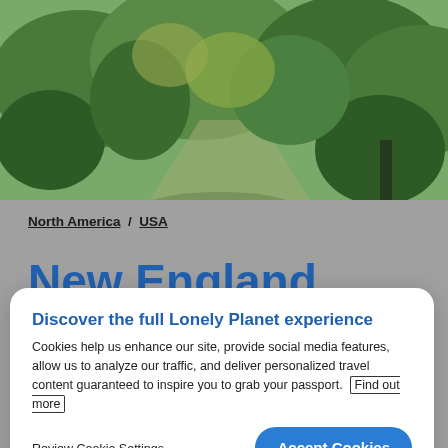[Figure (photo): Outdoor nature/garden scene with trees and greenery, bright sunny day, taken from above looking down at a path and lush landscape.]
North America / USA
New England
Discover the full Lonely Planet experience
Cookies help us enhance our site, provide social media features, allow us to analyze our traffic, and deliver personalized travel content guaranteed to inspire you to grab your passport. Find out more
Review Cookie Settings
Accept Cookies